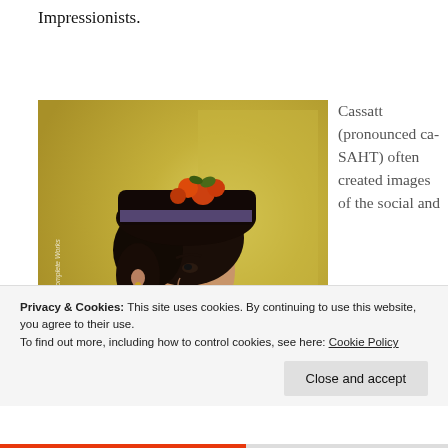Impressionists.
[Figure (photo): Impressionist portrait painting of a woman wearing a decorative hat with flowers, dressed in white blouse with dark bow, against a golden-yellow background. Watermark reads 'The Complete Works'.]
Cassatt (pronounced ca-SAHT) often created images of the social and
Privacy & Cookies: This site uses cookies. By continuing to use this website, you agree to their use.
To find out more, including how to control cookies, see here: Cookie Policy
Close and accept